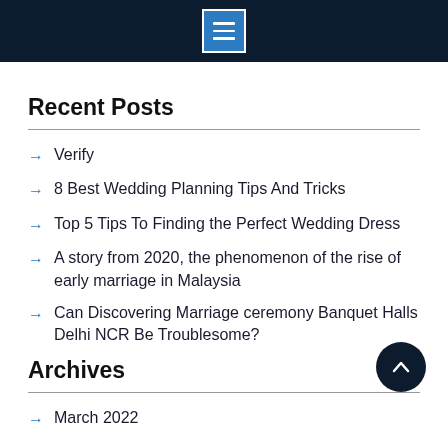[Menu icon in header bar]
Recent Posts
Verify
8 Best Wedding Planning Tips And Tricks
Top 5 Tips To Finding the Perfect Wedding Dress
A story from 2020, the phenomenon of the rise of early marriage in Malaysia
Can Discovering Marriage ceremony Banquet Halls Delhi NCR Be Troublesome?
Archives
March 2022